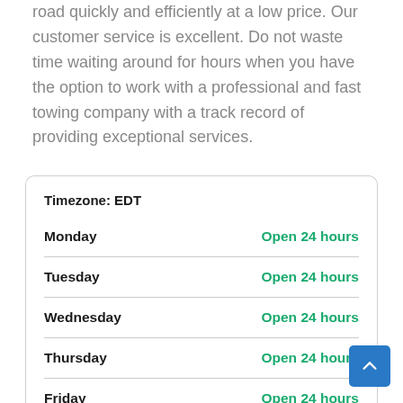road quickly and efficiently at a low price. Our customer service is excellent. Do not waste time waiting around for hours when you have the option to work with a professional and fast towing company with a track record of providing exceptional services.
| Day | Hours |
| --- | --- |
| Monday | Open 24 hours |
| Tuesday | Open 24 hours |
| Wednesday | Open 24 hours |
| Thursday | Open 24 hours |
| Friday | Open 24 hours |
| Saturday | Open 24 hours |